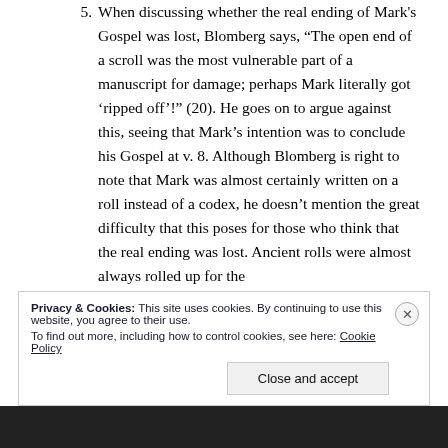5. When discussing whether the real ending of Mark's Gospel was lost, Blomberg says, “The open end of a scroll was the most vulnerable part of a manuscript for damage; perhaps Mark literally got ‘ripped off’!” (20). He goes on to argue against this, seeing that Mark's intention was to conclude his Gospel at v. 8. Although Blomberg is right to note that Mark was almost certainly written on a roll instead of a codex, he doesn’t mention the great difficulty that this poses for those who think that the real ending was lost. Ancient rolls were almost always rolled up for the
Privacy & Cookies: This site uses cookies. By continuing to use this website, you agree to their use.
To find out more, including how to control cookies, see here: Cookie Policy
Close and accept